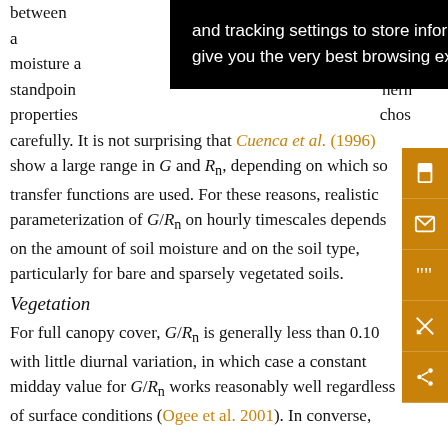between a... moisture a...ing standpoin...hern properties...chos carefully. It is not surprising that Cuenca et al. (1996) show a large range in G and Rn, depending on which so transfer functions are used. For these reasons, realistic parameterization of G/Rn on hourly timescales depends on the amount of soil moisture and on the soil type, particularly for bare and sparsely vegetated soils.
[Figure (other): Black tooltip/popup overlay reading: 'and tracking settings to store information that help give you the very best browsing experience.']
Vegetation
For full canopy cover, G/Rn is generally less than 0.10 with little diurnal variation, in which case a constant midday value for G/Rn works reasonably well regardless of surface conditions (Ogee et al. 2001). In converse,